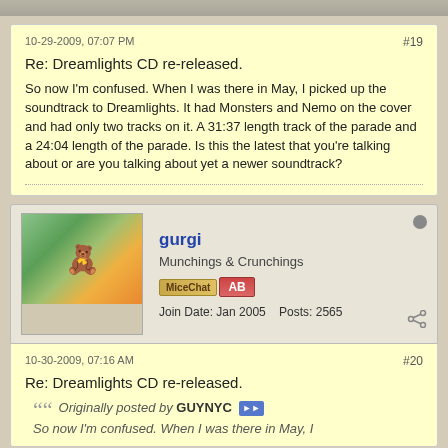10-29-2009, 07:07 PM
#19
Re: Dreamlights CD re-released.
So now I'm confused. When I was there in May, I picked up the soundtrack to Dreamlights. It had Monsters and Nemo on the cover and had only two tracks on it. A 31:37 length track of the parade and a 24:04 length of the parade. Is this the latest that you're talking about or are you talking about yet a newer soundtrack?
gurgi
Munchings & Crunchings
Join Date: Jan 2005   Posts: 2565
10-30-2009, 07:16 AM
#20
Re: Dreamlights CD re-released.
Originally posted by GUYNYC
So now I'm confused. When I was there in May, I picked...